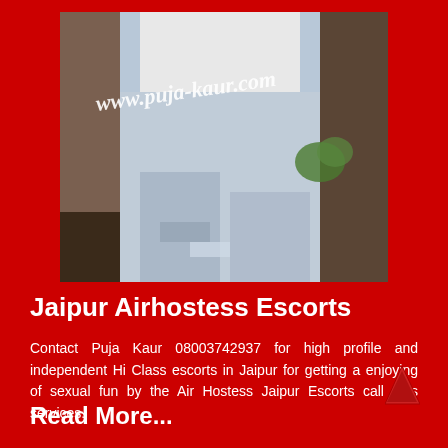[Figure (photo): Photo of a person wearing white top and ripped light blue jeans, with watermark text 'www.puja-kaur.com' overlaid on the image]
Jaipur Airhostess Escorts
Contact Puja Kaur 08003742937 for high profile and independent Hi Class escorts in Jaipur for getting a enjoying of sexual fun by the Air Hostess Jaipur Escorts call girls services.
Read More...